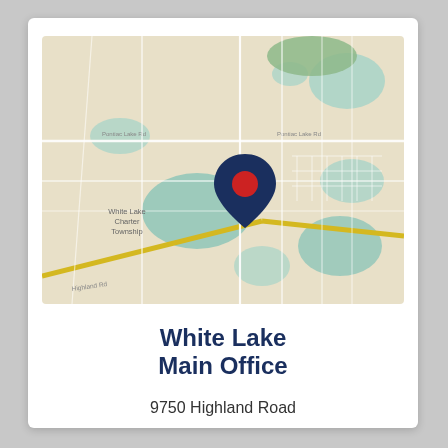[Figure (map): Street map of White Lake Charter Township area with a location pin marker indicating the White Lake Main Office location at approximately the center of the map. The map shows roads, water bodies (shown in teal/blue), parks (green), and suburban streets on a beige/tan background. A prominent dark navy blue teardrop-shaped map pin with a red circle center is placed at the office location.]
White Lake
Main Office
9750 Highland Road